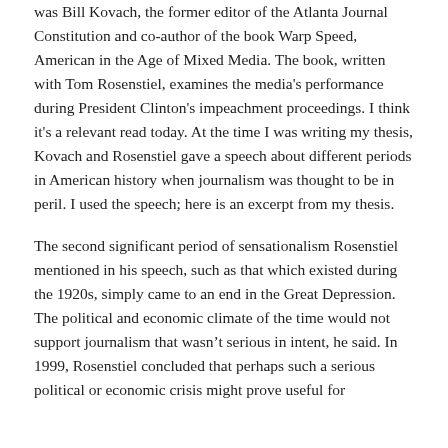was Bill Kovach, the former editor of the Atlanta Journal Constitution and co-author of the book Warp Speed, American in the Age of Mixed Media. The book, written with Tom Rosenstiel, examines the media's performance during President Clinton's impeachment proceedings. I think it's a relevant read today. At the time I was writing my thesis, Kovach and Rosenstiel gave a speech about different periods in American history when journalism was thought to be in peril. I used the speech; here is an excerpt from my thesis.
The second significant period of sensationalism Rosenstiel mentioned in his speech, such as that which existed during the 1920s, simply came to an end in the Great Depression. The political and economic climate of the time would not support journalism that wasn't serious in intent, he said. In 1999, Rosenstiel concluded that perhaps such a serious political or economic crisis might prove useful for